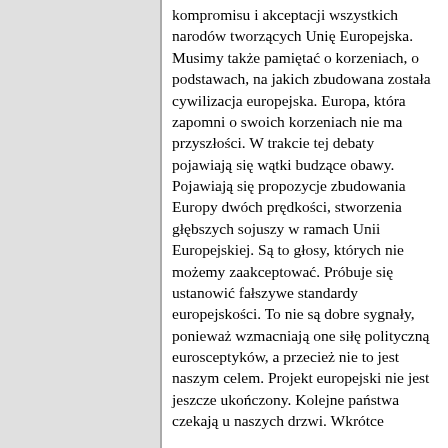kompromisu i akceptacji wszystkich narodów tworzących Unię Europejska. Musimy także pamiętać o korzeniach, o podstawach, na jakich zbudowana została cywilizacja europejska. Europa, która zapomni o swoich korzeniach nie ma przyszłości. W trakcie tej debaty pojawiają się wątki budzące obawy. Pojawiają się propozycje zbudowania Europy dwóch prędkości, stworzenia głębszych sojuszy w ramach Unii Europejskiej. Są to głosy, których nie możemy zaakceptować. Próbuje się ustanowić fałszywe standardy europejskości. To nie są dobre sygnały, ponieważ wzmacniają one siłę polityczną eurosceptyków, a przecież nie to jest naszym celem. Projekt europejski nie jest jeszcze ukończony. Kolejne państwa czekają u naszych drzwi. Wkrótce